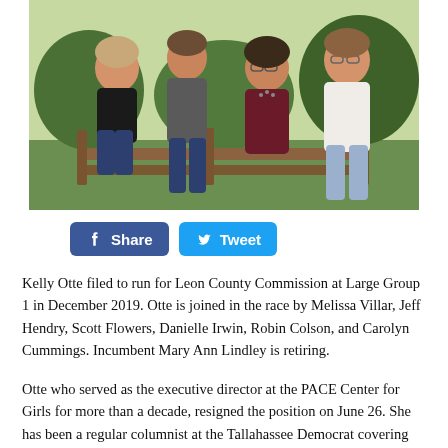[Figure (photo): Family photo of four adults posing outdoors near a wooden fence with green grass and trees in the background. A woman in black on the left, a man in a grey shirt, a woman in dark red, and a young man in a white shirt on the right.]
[Figure (infographic): Social media share buttons: a blue Facebook 'Share' button and a light-blue Twitter 'Tweet' button.]
Kelly Otte filed to run for Leon County Commission at Large Group 1 in December 2019. Otte is joined in the race by Melissa Villar, Jeff Hendry, Scott Flowers, Danielle Irwin, Robin Colson, and Carolyn Cummings. Incumbent Mary Ann Lindley is retiring.
Otte who served as the executive director at the PACE Center for Girls for more than a decade, resigned the position on June 26. She has been a regular columnist at the Tallahassee Democrat covering non-profit organizations.